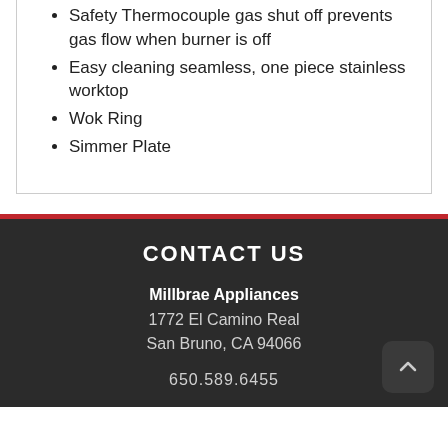Safety Thermocouple gas shut off prevents gas flow when burner is off
Easy cleaning seamless, one piece stainless worktop
Wok Ring
Simmer Plate
CONTACT US
Millbrae Appliances
1772 El Camino Real
San Bruno, CA 94066
650.589.6455